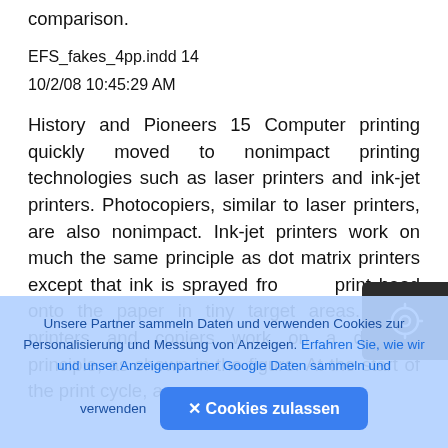comparison.
EFS_fakes_4pp.indd 14
10/2/08 10:45:29 AM
History and Pioneers 15 Computer printing quickly moved to nonimpact printing technologies such as laser printers and ink-jet printers. Photocopiers, similar to laser printers, are also nonimpact. Ink-jet printers work on much the same principle as dot matrix printers except that ink is sprayed from the print head onto the paper in tiny target areas. Laser printers and copiers work on a different principle, as shown in the figure. At the start of the print cycle, a
[Figure (other): Dark rounded rectangle button with a circular camera/target icon]
Unsere Partner sammeln Daten und verwenden Cookies zur Personalisierung und Messung von Anzeigen. Erfahren Sie, wie wir und unser Anzeigenpartner Google Daten sammeln und verwenden